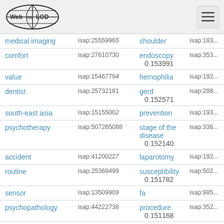Web isa LOD [logo] [menu]
| Term | ISAP ID | Related Term | ISAP ID |
| --- | --- | --- | --- |
| medical imaging | isap:2555996... | shoulder | isap:183... |
| comfort | isap:27610730 | endoscopy 0.153991 | isap:353... |
| value | isap:1546779... | hemophilia | isap:192... |
| dentist | isap:25732181 | gerd 0.152571 | isap:288... |
| south-east asia | isap:1515500... | prevention | isap:193... |
| psychotherapy | isap:507265088 | stage of the disease 0.152140 | isap:336... |
| accident | isap:4120022... | laparotomy | isap:192... |
| routine | isap:25369499 | susceptibility 0.151782 | isap:502... |
| sensor | isap:1350990... | fa | isap:985... |
| psychopathology | isap:44222738 | procedure 0.151168 | isap:352... |
| difficult | isap:3536963... | young woman | isap:339... |